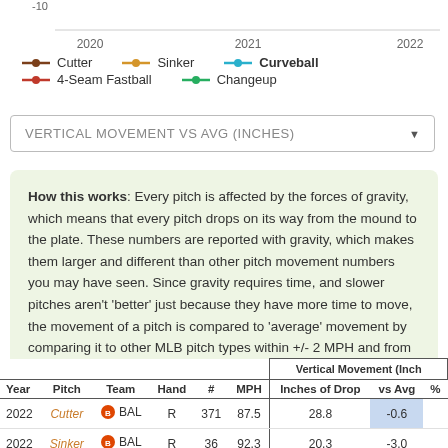[Figure (line-chart): Partial line chart showing pitch movement over time (2020-2022) with x-axis labels and legend for Cutter, Sinker, Curveball, 4-Seam Fastball, Changeup]
VERTICAL MOVEMENT VS AVG (INCHES)
How this works: Every pitch is affected by the forces of gravity, which means that every pitch drops on its way from the mound to the plate. These numbers are reported with gravity, which makes them larger and different than other pitch movement numbers you may have seen. Since gravity requires time, and slower pitches aren't 'better' just because they have more time to move, the movement of a pitch is compared to 'average' movement by comparing it to other MLB pitch types within +/- 2 MPH and from within +/- 0.5 feet of extension and release.
| Year | Pitch | Team | Hand | # | MPH | Inches of Drop | vs Avg | % |
| --- | --- | --- | --- | --- | --- | --- | --- | --- |
| 2022 | Cutter | BAL | R | 371 | 87.5 | 28.8 | -0.6 |  |
| 2022 | Sinker | BAL | R | 36 | 92.3 | 20.3 | -3.0 |  |